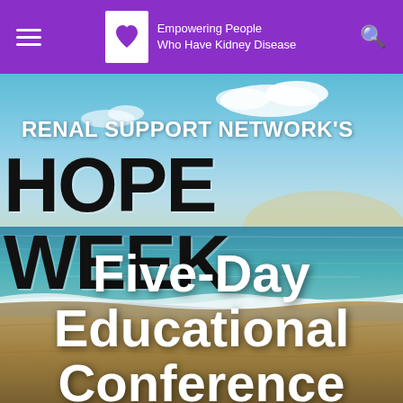Empowering People Who Have Kidney Disease
[Figure (photo): Beach scene with ocean waves, sandy shore, and a blue sky with clouds, used as a background image]
RENAL SUPPORT NETWORK'S HOPE WEEK Five-Day Educational Conference